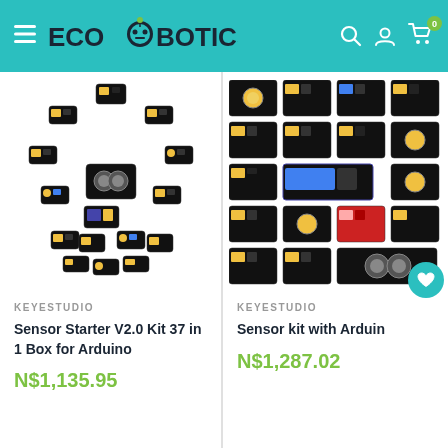ECOROBOTICS — navigation header with hamburger menu, search, account, and cart (0 items) icons
[Figure (photo): Keyestudio Sensor Starter V2.0 Kit 37 in 1 Box for Arduino — multiple black electronic sensor modules arranged in a star/pentagon pattern on white background]
KEYESTUDIO
Sensor Starter V2.0 Kit 37 in 1 Box for Arduino
N$1,135.95
[Figure (photo): Keyestudio Sensor Kit with Arduino — multiple black electronic sensor modules arranged in a grid pattern on white background, with teal heart/favorite button overlay]
KEYESTUDIO
Sensor kit with Arduin…
N$1,287.02